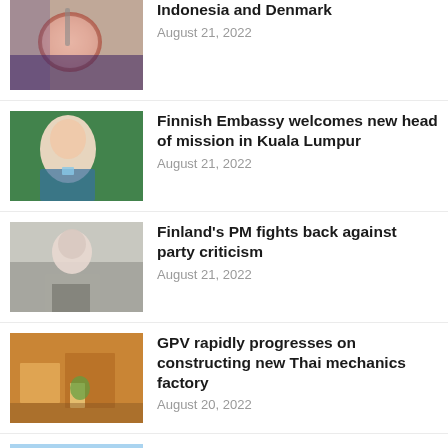[Figure (photo): Close-up photo of a pink/salmon colored round object being held with tweezers or instrument against a blue gloved hand background]
Indonesia and Denmark
August 21, 2022
[Figure (photo): Portrait of a smiling woman with light hair wearing a blue top with a blue lanyard, standing in front of a green background]
Finnish Embassy welcomes new head of mission in Kuala Lumpur
August 21, 2022
[Figure (photo): Portrait of a dark-haired young woman in a black outfit standing outdoors with a blurred background]
Finland’s PM fights back against party criticism
August 21, 2022
[Figure (photo): Aerial or overhead view of a construction site with workers and building materials in orange/yellow/brown tones]
GPV rapidly progresses on constructing new Thai mechanics factory
August 20, 2022
[Figure (photo): Sky/horizon image with blue tones]
Circular Business Models report